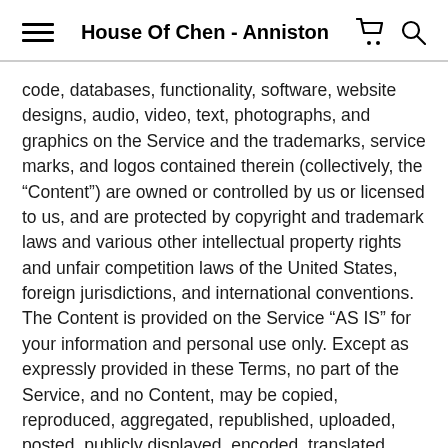House Of Chen - Anniston
code, databases, functionality, software, website designs, audio, video, text, photographs, and graphics on the Service and the trademarks, service marks, and logos contained therein (collectively, the “Content”) are owned or controlled by us or licensed to us, and are protected by copyright and trademark laws and various other intellectual property rights and unfair competition laws of the United States, foreign jurisdictions, and international conventions. The Content is provided on the Service “AS IS” for your information and personal use only. Except as expressly provided in these Terms, no part of the Service, and no Content, may be copied, reproduced, aggregated, republished, uploaded, posted, publicly displayed, encoded, translated, transmitted, distributed, sold, licensed, or otherwise exploited for any commercial purpose whatsoever, without our express prior written